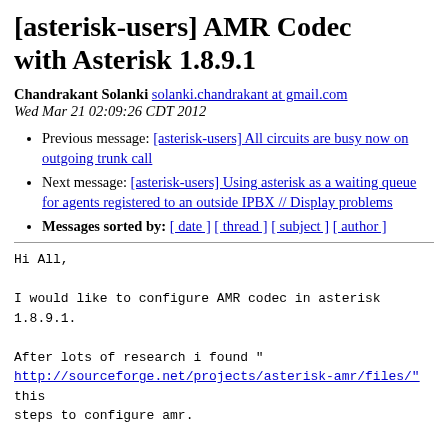[asterisk-users] AMR Codec with Asterisk 1.8.9.1
Chandrakant Solanki solanki.chandrakant at gmail.com
Wed Mar 21 02:09:26 CDT 2012
Previous message: [asterisk-users] All circuits are busy now on outgoing trunk call
Next message: [asterisk-users] Using asterisk as a waiting queue for agents registered to an outside IPBX // Display problems
Messages sorted by: [ date ] [ thread ] [ subject ] [ author ]
Hi All,

I would like to configure AMR codec in asterisk 1.8.9.1.

After lots of research i found "
http://sourceforge.net/projects/asterisk-amr/files/" this steps to configure amr.

codec_amr.so successfully compiled and load in asterisk.